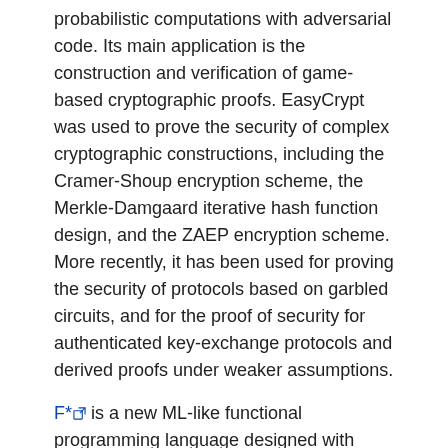probabilistic computations with adversarial code. Its main application is the construction and verification of game-based cryptographic proofs. EasyCrypt was used to prove the security of complex cryptographic constructions, including the Cramer-Shoup encryption scheme, the Merkle-Damgaard iterative hash function design, and the ZAEP encryption scheme. More recently, it has been used for proving the security of protocols based on garbled circuits, and for the proof of security for authenticated key-exchange protocols and derived proofs under weaker assumptions.
F* is a new ML-like functional programming language designed with program verification in mind. It has a powerful refinement type-checker that discharges verification conditions using the Z3 SMT solver. F* has been successfully used to verify nearly 50,000 lines of code, ranging from cryptographic protocol implementations to web browser extensions, and from cloud-hosted web applications to key parts of the F* compiler itself. The newest version on F* erases to both F# and OCaml, on which it is based. It also compiles securely to JavaScript, enabling safe interoperability with arbitrary, untrusted JavaScript libraries.
... is a new ...